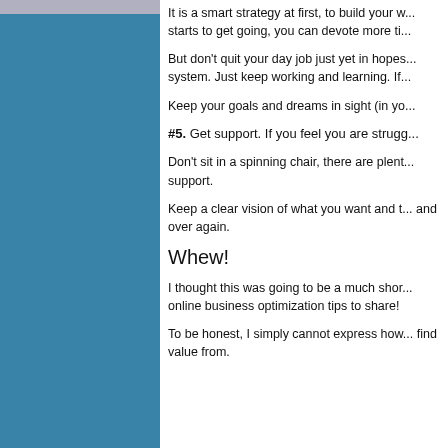It is a smart strategy at first, to build your w... starts to get going, you can devote more ti...
But don't quit your day job just yet in hopes... system. Just keep working and learning. If...
Keep your goals and dreams in sight (in yo...
#5. Get support. If you feel you are strugg...
Don't sit in a spinning chair, there are plent... support.
Keep a clear vision of what you want and t... and over again.
Whew!
I thought this was going to be a much shor... online business optimization tips to share!
To be honest, I simply cannot express how... find value from.